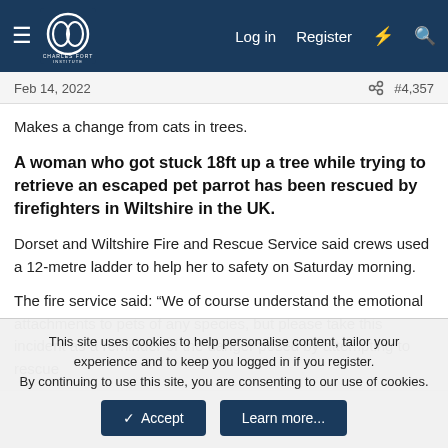Charles Fort Institute — Log in | Register
Feb 14, 2022   #4,357
Makes a change from cats in trees.
A woman who got stuck 18ft up a tree while trying to retrieve an escaped pet parrot has been rescued by firefighters in Wiltshire in the UK.
Dorset and Wiltshire Fire and Rescue Service said crews used a 12-metre ladder to help her to safety on Saturday morning.
The fire service said: “We of course understand the emotional attachments to pets of any species, but please take this incident as a reminder of the danger posed by attempting to rescue
This site uses cookies to help personalise content, tailor your experience and to keep you logged in if you register.
By continuing to use this site, you are consenting to our use of cookies.